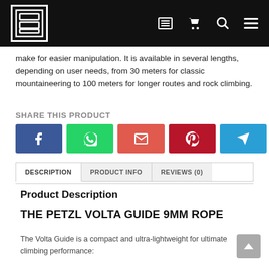[Site logo and navigation: list icon, cart, search, menu]
make for easier manipulation. It is available in several lengths, depending on user needs, from 30 meters for classic mountaineering to 100 meters for longer routes and rock climbing.
SHARE THIS PRODUCT
[Figure (infographic): Row of 5 social share buttons: Facebook (blue), WhatsApp (green), Email (red-orange), Pinterest (dark red), Telegram (blue)]
DESCRIPTION | PRODUCT INFO | REVIEWS (0)
Product Description
THE PETZL VOLTA GUIDE 9MM ROPE
The Volta Guide is a compact and ultra-lightweight for ultimate climbing performance: